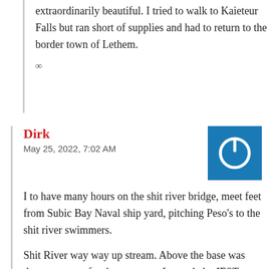extraordinarily beautiful. I tried to walk to Kaieteur Falls but ran short of supplies and had to return to the border town of Lethem.
∞
Dirk
May 25, 2022, 7:02 AM
[Figure (other): Blue square icon with white power/circle symbol]
I to have many hours on the shit river bridge, meet feet from Subic Bay Naval ship yard, pitching Peso's to the shit river swimmers.
Shit River way way up stream. Above the base was decent, except for the caymans, I attended a JEST, "Jungle environmental survival school" their in 79. Was TDY to COMNAVPHIL admirals staff while awaiting my ETS orders. 7 ish months.